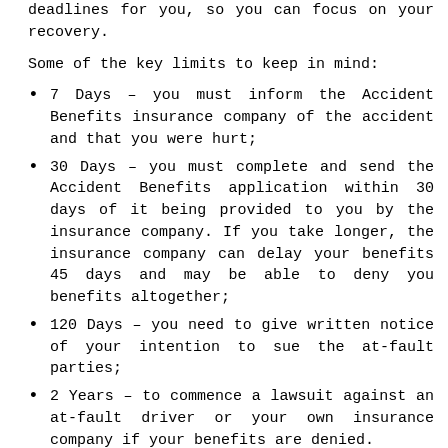deadlines for you, so you can focus on your recovery.
Some of the key limits to keep in mind:
7 Days – you must inform the Accident Benefits insurance company of the accident and that you were hurt;
30 Days – you must complete and send the Accident Benefits application within 30 days of it being provided to you by the insurance company. If you take longer, the insurance company can delay your benefits 45 days and may be able to deny you benefits altogether;
120 Days – you need to give written notice of your intention to sue the at-fault parties;
2 Years – to commence a lawsuit against an at-fault driver or your own insurance company if your benefits are denied.
You must provide the insurance company all the information it needs to determine your entitlement. You have 10 business days after it requests such